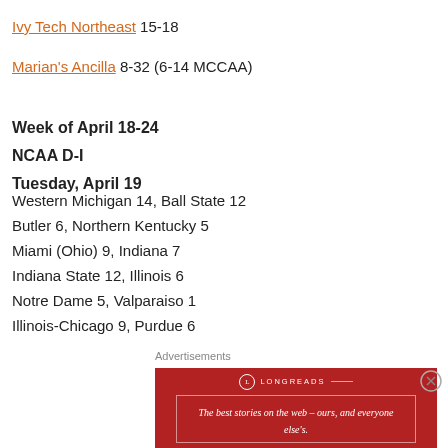Ivy Tech Northeast 15-18
Marian's Ancilla 8-32 (6-14 MCCAA)
Week of April 18-24
NCAA D-I
Tuesday, April 19
Western Michigan 14, Ball State 12
Butler 6, Northern Kentucky 5
Miami (Ohio) 9, Indiana 7
Indiana State 12, Illinois 6
Notre Dame 5, Valparaiso 1
Illinois-Chicago 9, Purdue 6
Advertisements
[Figure (other): Longreads advertisement banner: red background with logo and tagline 'The best stories on the web – ours, and everyone else's.']
Advertisements
[Figure (other): Ulta Beauty advertisement showing makeup/cosmetics imagery with 'SHOP NOW' text]